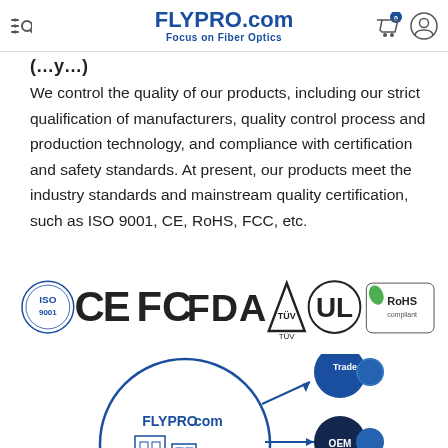FLYPRO.com — Focus on Fiber Optics
We control the quality of our products, including our strict qualification of manufacturers, quality control process and production technology, and compliance with certification and safety standards. At present, our products meet the industry standards and mainstream quality certification, such as ISO 9001, CE, RoHS, FCC, etc.
[Figure (logo): Certification logos: ISO 9001, CE, FC, FDA, TÜV, UL, RoHS compliant]
[Figure (infographic): FLYPRO.com business model diagram showing connections to Trader, OEM, and Contractors]